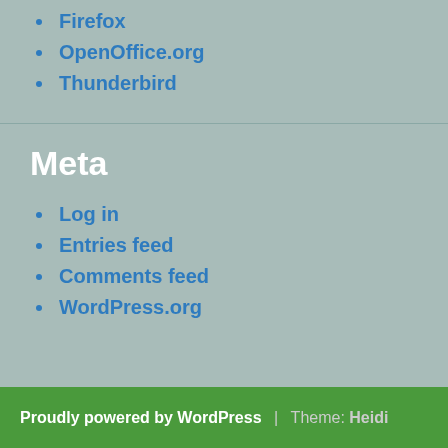Firefox
OpenOffice.org
Thunderbird
Meta
Log in
Entries feed
Comments feed
WordPress.org
Proudly powered by WordPress | Theme: Heidi